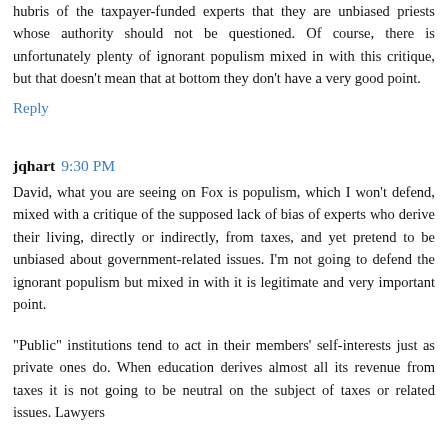hubris of the taxpayer-funded experts that they are unbiased priests whose authority should not be questioned. Of course, there is unfortunately plenty of ignorant populism mixed in with this critique, but that doesn't mean that at bottom they don't have a very good point.
Reply
jqhart 9:30 PM
David, what you are seeing on Fox is populism, which I won't defend, mixed with a critique of the supposed lack of bias of experts who derive their living, directly or indirectly, from taxes, and yet pretend to be unbiased about government-related issues. I'm not going to defend the ignorant populism but mixed in with it is legitimate and very important point.
"Public" institutions tend to act in their members' self-interests just as private ones do. When education derives almost all its revenue from taxes it is not going to be neutral on the subject of taxes or related issues. Lawyers